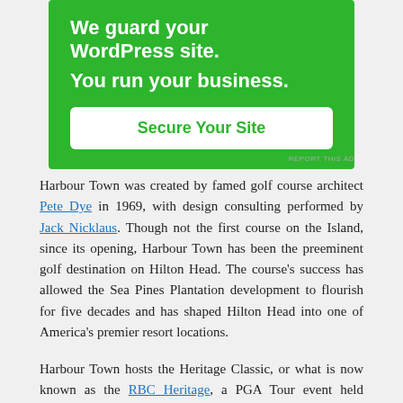[Figure (other): Green advertisement banner with white bold text: 'We guard your WordPress site. You run your business.' and a white button labeled 'Secure Your Site' in green text.]
REPORT THIS AD
Harbour Town was created by famed golf course architect Pete Dye in 1969, with design consulting performed by Jack Nicklaus. Though not the first course on the Island, since its opening, Harbour Town has been the preeminent golf destination on Hilton Head. The course's success has allowed the Sea Pines Plantation development to flourish for five decades and has shaped Hilton Head into one of America's premier resort locations.
Harbour Town hosts the Heritage Classic, or what is now known as the RBC Heritage, a PGA Tour event held annually the week following